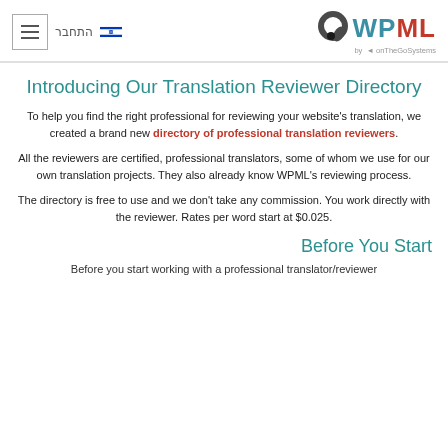התחבר [Hebrew] | [Israeli flag] | WPML by onTheGoSystems
Introducing Our Translation Reviewer Directory
To help you find the right professional for reviewing your website's translation, we created a brand new directory of professional translation reviewers.
All the reviewers are certified, professional translators, some of whom we use for our own translation projects. They also already know WPML's reviewing process.
The directory is free to use and we don't take any commission. You work directly with the reviewer. Rates per word start at $0.025.
Before You Start
Before you start working with a professional translator/reviewer